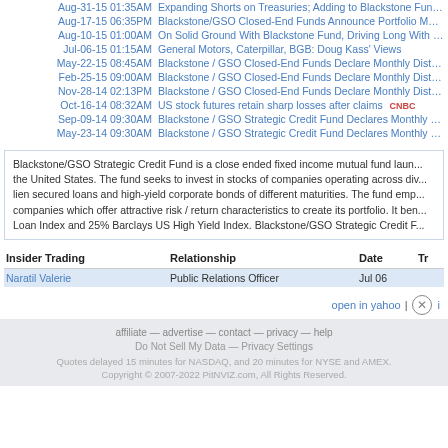Aug-31-15 01:35AM  Expanding Shorts on Treasuries; Adding to Blackstone Fund...
Aug-17-15 06:35PM  Blackstone/GSO Closed-End Funds Announce Portfolio Man...
Aug-10-15 01:00AM  On Solid Ground With Blackstone Fund, Driving Long With G...
Jul-06-15 01:15AM  General Motors, Caterpillar, BGB: Doug Kass' Views
May-22-15 08:45AM  Blackstone / GSO Closed-End Funds Declare Monthly Distrib...
Feb-25-15 09:00AM  Blackstone / GSO Closed-End Funds Declare Monthly Distrib...
Nov-28-14 02:13PM  Blackstone / GSO Closed-End Funds Declare Monthly Distrib...
Oct-16-14 08:32AM  US stock futures retain sharp losses after claims  CNBC
Sep-09-14 09:30AM  Blackstone / GSO Strategic Credit Fund Declares Monthly Di...
May-23-14 09:30AM  Blackstone / GSO Strategic Credit Fund Declares Monthly Di...
Blackstone/GSO Strategic Credit Fund is a close ended fixed income mutual fund laun... the United States. The fund seeks to invest in stocks of companies operating across div... lien secured loans and high-yield corporate bonds of different maturities. The fund emp... companies which offer attractive risk / return characteristics to create its portfolio. It ben... Loan Index and 25% Barclays US High Yield Index. Blackstone/GSO Strategic Credit F...
| Insider Trading | Relationship | Date | Tr... |
| --- | --- | --- | --- |
| Naratil Valerie | Public Relations Officer | Jul 06 |  |
open in yahoo | ✕ i
affiliate — advertise — contact — privacy — help
Do Not Sell My Data — Privacy Settings
Quotes delayed 15 minutes for NASDAQ, and 20 minutes for NYSE and AMEX.
Copyright © 2007-2022 PitNVIZ.com, All Rights Reserved.